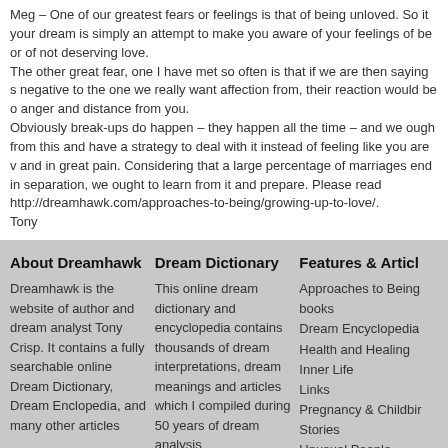Meg – One of our greatest fears or feelings is that of being unloved. So it your dream is simply an attempt to make you aware of your feelings of being unloved, or of not deserving love.
The other great fear, one I have met so often is that if we are then saying something negative to the one we really want affection from, their reaction would be of anger and distance from you.
Obviously break-ups do happen – they happen all the time – and we ought to learn from this and have a strategy to deal with it instead of feeling like you are worthless and in great pain. Considering that a large percentage of marriages end in separation, we ought to learn from it and prepare. Please read http://dreamhawk.com/approaches-to-being/growing-up-to-love/.
Tony
About Dreamhawk
Dreamhawk is the website of author and dream analyst Tony Crisp. It contains a fully searchable online Dream Dictionary, Dream Enclopedia, and many other articles
Dream Dictionary
This online dream dictionary and encyclopedia contains thousands of dream interpretations, dream meanings and articles which I compiled during 50 years of dream analysis
Features & Articles
Approaches to Being books
Dream Encyclopedia
Health and Healing
Inner Life
Links
Pregnancy & Childbirth
Stories
Unusual People
Yoga
Copyright © 1999-2